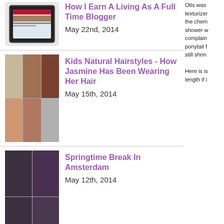[Figure (photo): Thumbnail of tablet showing a blog website]
How I Earn A Living As A Full Time Blogger
May 22nd, 2014
[Figure (photo): Grid of 5 photos showing kids natural hairstyles]
Kids Natural Hairstyles - How Jasmine Has Been Wearing Her Hair
May 15th, 2014
[Figure (photo): 4-photo grid of hair styles in Amsterdam]
Springtime Break In Amsterdam
May 12th, 2014
[Figure (photo): Woman with long straight hair, back view]
Back To BSL - 4 Inches Cut Off
March 14th, 2014
Otis was texturizer the chem shower w complain ponytail f still shrin Here is is length if i